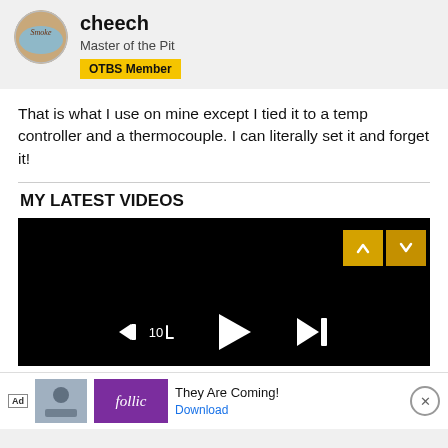[Figure (photo): Circular avatar image with 'Smoke' text on a decorative background]
cheech
Master of the Pit
OTBS Member
That is what I use on mine except I tied it to a temp controller and a thermocouple. I can literally set it and forget it!
MY LATEST VIDEOS
[Figure (screenshot): Video player with black background, rewind 10 button, play button, skip button, navigation arrows, and yellow nav controls in top right]
[Figure (screenshot): Ad bar at bottom: Ad label, image thumbnail, Follic purple logo, 'They Are Coming!' text, Download link, and X close button]